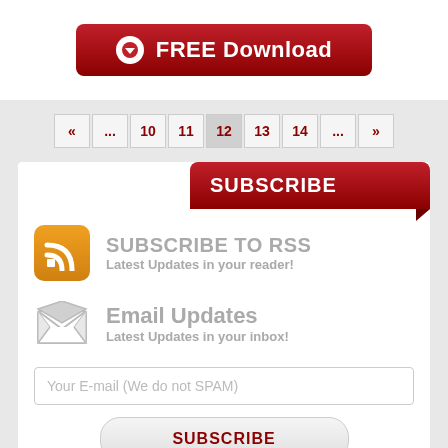[Figure (other): Red download button with circular arrow-down icon and text FREE Download]
[Figure (other): Pagination bar with buttons: «, ..., 10, 11, 12, 13, 14, ..., »]
SUBSCRIBE
[Figure (other): Orange RSS feed icon]
SUBSCRIBE TO RSS
Latest Updates in your reader!
[Figure (other): Envelope/email icon]
Email Updates
Latest Updates in your inbox!
Your E-mail (We do not SPAM)
SUBSCRIBE
CATEGORIES